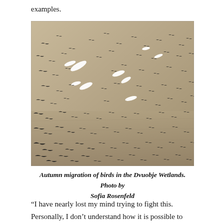examples.
[Figure (photo): A large flock of birds in autumn migration over the Dvuobje Wetlands. Hundreds of dark birds fill the sky against a sandy, muted background, with several white birds visible among them.]
Autumn migration of birds in the Dvuobje Wetlands. Photo by Sofia Rosenfeld
“I have nearly lost my mind trying to fight this. Personally, I don’t understand how it is possible to have fun murdering